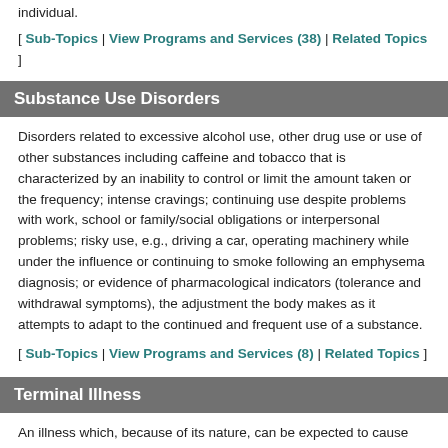individual.
[ Sub-Topics | View Programs and Services (38) | Related Topics ]
Substance Use Disorders
Disorders related to excessive alcohol use, other drug use or use of other substances including caffeine and tobacco that is characterized by an inability to control or limit the amount taken or the frequency; intense cravings; continuing use despite problems with work, school or family/social obligations or interpersonal problems; risky use, e.g., driving a car, operating machinery while under the influence or continuing to smoke following an emphysema diagnosis; or evidence of pharmacological indicators (tolerance and withdrawal symptoms), the adjustment the body makes as it attempts to adapt to the continued and frequent use of a substance.
[ Sub-Topics | View Programs and Services (8) | Related Topics ]
Terminal Illness
An illness which, because of its nature, can be expected to cause the individual to die.